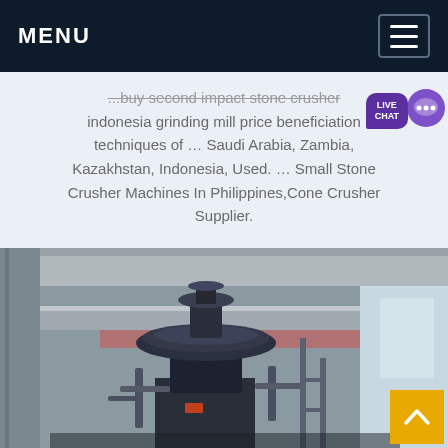MENU
...buy second impact stone crusher indonesia grinding mill price beneficiation techniques of ... Saudi Arabia, Zambia, Kazakhstan, Indonesia, Used. ... Small Stone Crusher Machines In Philippines,Cone Crusher Supplier.
[Figure (photo): Industrial cone crusher machine photographed inside a large factory or warehouse. The heavy machinery features a large metal disc/bowl at the top, a cylindrical body, and various mechanical components and piping around its base. The setting is an industrial hall with steel beams and high ceilings.]